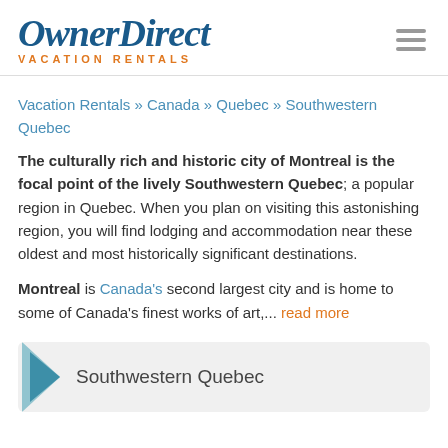OwnerDirect VACATION RENTALS
Vacation Rentals » Canada » Quebec » Southwestern Quebec
The culturally rich and historic city of Montreal is the focal point of the lively Southwestern Quebec; a popular region in Quebec. When you plan on visiting this astonishing region, you will find lodging and accommodation near these oldest and most historically significant destinations.
Montreal is Canada's second largest city and is home to some of Canada's finest works of art,... read more
Southwestern Quebec